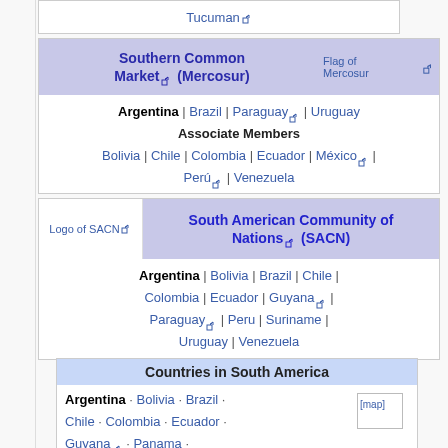Tucuman [ext link]
| Southern Common Market [ext] (Mercosur) | Flag of Mercosur | [ext] |
| Argentina | Brazil | Paraguay [ext] | Uruguay |  |  |
| Associate Members |  |  |
| Bolivia | Chile | Colombia | Ecuador | México [ext] | Perú [ext] | Venezuela |  |  |
| Logo of SACN [ext] | South American Community of Nations [ext] (SACN) |
| Argentina | Bolivia | Brazil | Chile | Colombia | Ecuador | Guyana [ext] | Paraguay [ext] | Peru | Suriname | Uruguay | Venezuela |  |
| Countries in South America |
| --- |
| Argentina · Bolivia · Brazil · Chile · Colombia · Ecuador · Guyana [ext] · Panama · | [map image] |